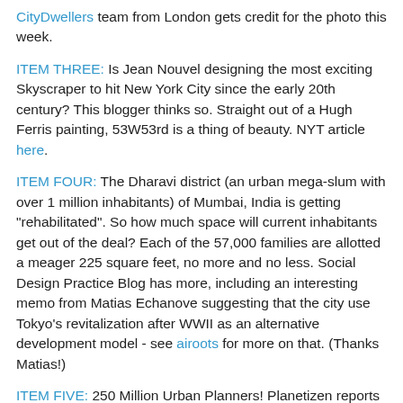CityDwellers team from London gets credit for the photo this week.
ITEM THREE: Is Jean Nouvel designing the most exciting Skyscraper to hit New York City since the early 20th century? This blogger thinks so. Straight out of a Hugh Ferris painting, 53W53rd is a thing of beauty. NYT article here.
ITEM FOUR: The Dharavi district (an urban mega-slum with over 1 million inhabitants) of Mumbai, India is getting "rehabilitated". So how much space will current inhabitants get out of the deal? Each of the 57,000 families are allotted a meager 225 square feet, no more and no less. Social Design Practice Blog has more, including an interesting memo from Matias Echanove suggesting that the city use Tokyo's revitalization after WWII as an alternative development model - see airoots for more on that. (Thanks Matias!)
ITEM FIVE: 250 Million Urban Planners! Planetizen reports that the $200 XO-1 laptop (the first model designed for the One Laptop Per Child program) will come packaged with Will Wright's 1989 classic planning game Sim City. OLPC plans